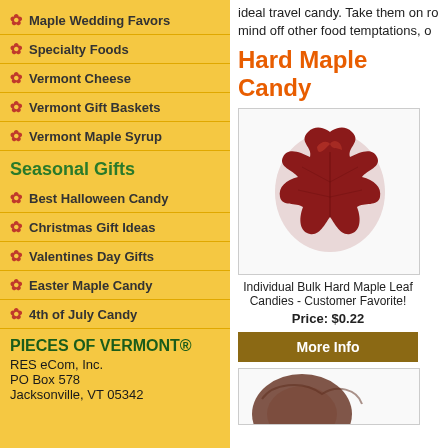Maple Wedding Favors
Specialty Foods
Vermont Cheese
Vermont Gift Baskets
Vermont Maple Syrup
Seasonal Gifts
Best Halloween Candy
Christmas Gift Ideas
Valentines Day Gifts
Easter Maple Candy
4th of July Candy
PIECES OF VERMONT®
RES eCom, Inc.
PO Box 578
Jacksonville, VT 05342
ideal travel candy. Take them on ro mind off other food temptations, o
Hard Maple Candy
[Figure (photo): A hard maple candy shaped like a maple leaf, reddish-brown in color, photographed on a white background.]
Individual Bulk Hard Maple Leaf Candies - Customer Favorite!
Price: $0.22
More Info
[Figure (photo): Partial view of another hard maple candy product.]